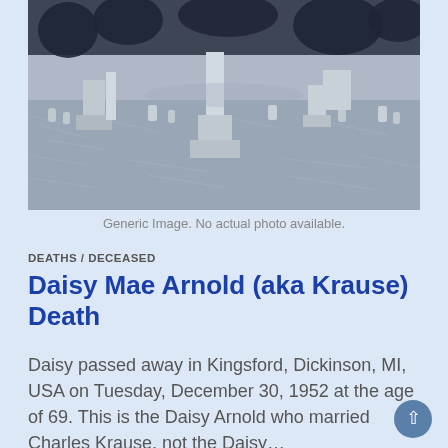[Figure (photo): Grayscale/blue-tinted aerial or ground-level photograph of a cemetery with gravestones, monuments, and trees in the background.]
Generic Image. No actual photo available.
DEATHS / DECEASED
Daisy Mae Arnold (aka Krause) Death
Daisy passed away in Kingsford, Dickinson, MI, USA on Tuesday, December 30, 1952 at the age of 69. This is the Daisy Arnold who married Charles Krause, not the Daisy…